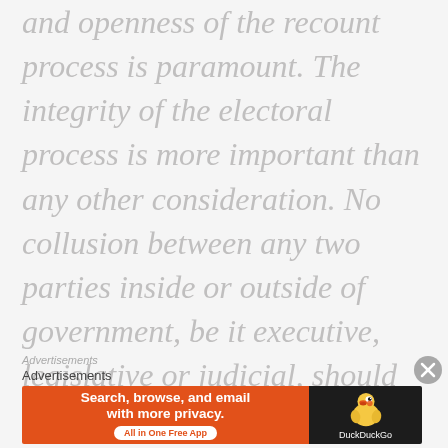and openness of the recount process is paramount. The integrity of the electoral process is more important than any other consideration. No collusion between any two parties inside or outside of government, be it executive, legislative or judicial, should be permitted to threaten the integrity of elections.
Advertisements
[Figure (other): DuckDuckGo advertisement banner: orange left panel with text 'Search, browse, and email with more privacy. All in One Free App' and dark right panel with DuckDuckGo duck logo and brand name.]